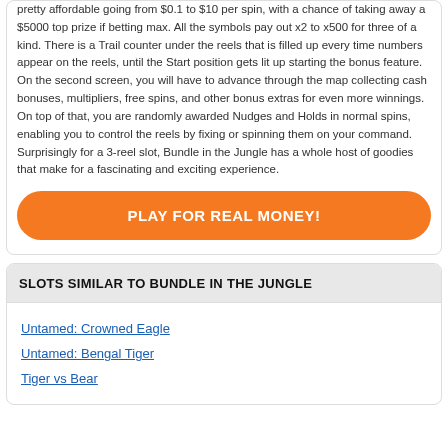pretty affordable going from $0.1 to $10 per spin, with a chance of taking away a $5000 top prize if betting max. All the symbols pay out x2 to x500 for three of a kind. There is a Trail counter under the reels that is filled up every time numbers appear on the reels, until the Start position gets lit up starting the bonus feature. On the second screen, you will have to advance through the map collecting cash bonuses, multipliers, free spins, and other bonus extras for even more winnings. On top of that, you are randomly awarded Nudges and Holds in normal spins, enabling you to control the reels by fixing or spinning them on your command. Surprisingly for a 3-reel slot, Bundle in the Jungle has a whole host of goodies that make for a fascinating and exciting experience.
PLAY FOR REAL MONEY!
SLOTS SIMILAR TO BUNDLE IN THE JUNGLE
Untamed: Crowned Eagle
Untamed: Bengal Tiger
Tiger vs Bear